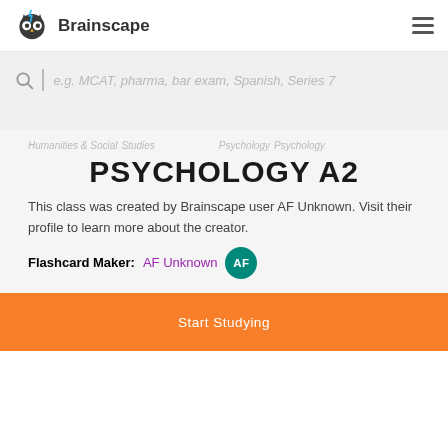[Figure (logo): Brainscape owl logo with blue lightning bolt on head]
Brainscape
e.g. MCAT, pharma, bar exam, Spanish, Series 7
Humanities & Social Studies  Psychology  Psychology
PSYCHOLOGY A2
This class was created by Brainscape user AF Unknown. Visit their profile to learn more about the creator.
Flashcard Maker:  AF Unknown
Start Studying